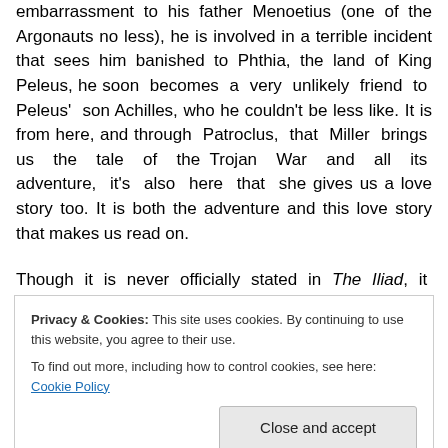embarrassment to his father Menoetius (one of the Argonauts no less), he is involved in a terrible incident that sees him banished to Phthia, the land of King Peleus, he soon becomes a very unlikely friend to Peleus' son Achilles, who he couldn't be less like. It is from here, and through Patroclus, that Miller brings us the tale of the Trojan War and all its adventure, it's also here that she gives us a love story too. It is both the adventure and this love story that makes us read on.
Though it is never officially stated in The Iliad, it is believed, and inferred, by many that Patroclus was not just
Privacy & Cookies: This site uses cookies. By continuing to use this website, you agree to their use. To find out more, including how to control cookies, see here: Cookie Policy
emotional punch. I don't normally love a love story, but I